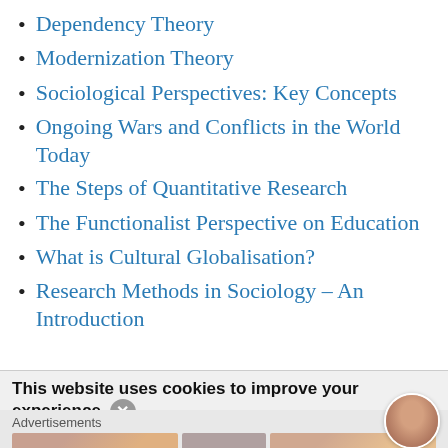Dependency Theory
Modernization Theory
Sociological Perspectives: Key Concepts
Ongoing Wars and Conflicts in the World Today
The Steps of Quantitative Research
The Functionalist Perspective on Education
What is Cultural Globalisation?
Research Methods in Sociology – An Introduction
This website uses cookies to improve your experience.
Advertisements